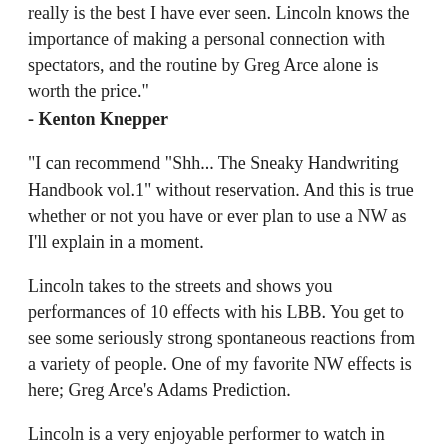really is the best I have ever seen. Lincoln knows the importance of making a personal connection with spectators, and the routine by Greg Arce alone is worth the price."
- Kenton Knepper
"I can recommend "Shh... The Sneaky Handwriting Handbook vol.1" without reservation. And this is true whether or not you have or ever plan to use a NW as I'll explain in a moment.
Lincoln takes to the streets and shows you performances of 10 effects with his LBB. You get to see some seriously strong spontaneous reactions from a variety of people. One of my favorite NW effects is here; Greg Arce's Adams Prediction.
Lincoln is a very enjoyable performer to watch in action and he demonstrates a wide range of effects possible with a NW. But these 10 effects are the small tip of a large